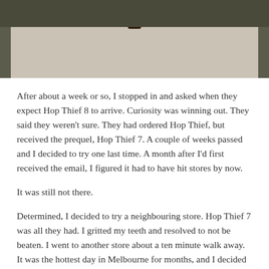[Figure (photo): Photo of a massage table or white cloth-covered table with a dark bottle on top, photographed indoors against a dark background.]
After about a week or so, I stopped in and asked when they expect Hop Thief 8 to arrive. Curiosity was winning out. They said they weren't sure. They had ordered Hop Thief, but received the prequel, Hop Thief 7. A couple of weeks passed and I decided to try one last time. A month after I'd first received the email, I figured it had to have hit stores by now.
It was still not there.
Determined, I decided to try a neighbouring store. Hop Thief 7 was all they had. I gritted my teeth and resolved to not be beaten. I went to another store about a ten minute walk away. It was the hottest day in Melbourne for months, and I decided a short stroll would be well rewarded with a pale ale. Alas, none there.
Getting a sweat up by this point, I popped my hoodie off and went into another store. Hop Thief, half a lend. I walked past the